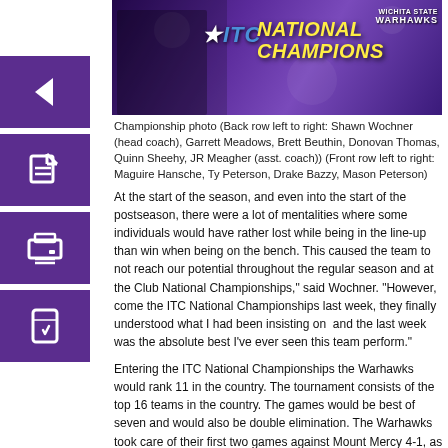[Figure (photo): Championship banner photo showing purple background with ITC logo and 'NATIONAL CHAMPIONS' text in yellow/gold italic letters, with Warhawks logo in upper right]
Championship photo (Back row left to right: Shawn Wochner (head coach), Garrett Meadows, Brett Beuthin, Donovan Thomas, Quinn Sheehy, JR Meagher (asst. coach)) (Front row left to right: Maguire Hansche, Ty Peterson, Drake Bazzy, Mason Peterson)
At the start of the season, and even into the start of the postseason, there were a lot of mentalities where some individuals would have rather lost while being in the line-up than win when being on the bench. This caused the team to not reach our potential throughout the regular season and at the Club National Championships," said Wochner. "However, come the ITC National Championships last week, they finally understood what I had been insisting on  and the last week was the absolute best I’ve ever seen this team perform."
Entering the ITC National Championships the Warhawks would rank 11 in the country. The tournament consists of the top 16 teams in the country. The games would be best of seven and would also be double elimination. The Warhawks took care of their first two games against Mount Mercy 4-1, as well as beating SCAD Savannah 4-3 who was the top seed in the whole tournament. They would then suffer their first loss of the tournament to Indiana Tech 2-4. Because of its double elimination